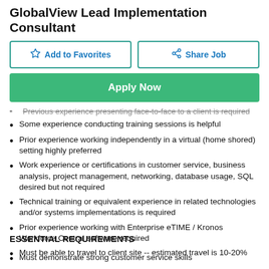GlobalView Lead Implementation Consultant
[Figure (other): Add to Favorites and Share Job buttons]
[Figure (other): Apply Now green button]
Previous experience presenting face-to-face to a client is required (strikethrough)
Some experience conducting training sessions is helpful
Prior experience working independently in a virtual (home shored) setting highly preferred
Work experience or certifications in customer service, business analysis, project management, networking, database usage, SQL desired but not required
Technical training or equivalent experience in related technologies and/or systems implementations is required
Prior experience working with Enterprise eTIME / Kronos Workforce Central software required
Must be able to travel to client site -- estimated travel is 10-20%
ESSENTIAL REQUIREMENTS
Must demonstrate strong customer service skills